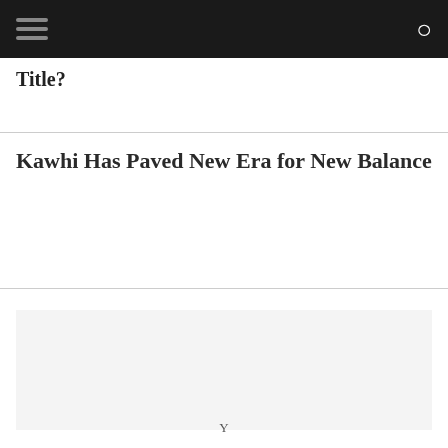[navigation bar with hamburger menu and search icon]
Title?
Kawhi Has Paved New Era for New Balance
[Figure (other): Advertisement or image placeholder block with light gray background]
Y